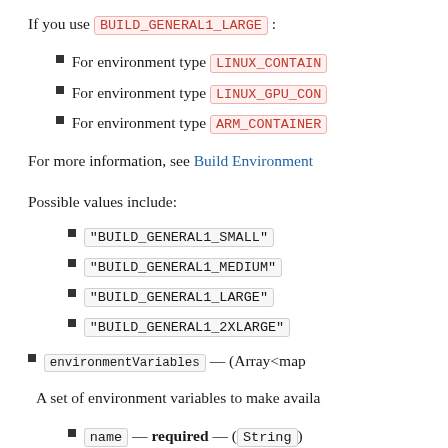If you use BUILD_GENERAL1_LARGE:
For environment type LINUX_CONTAIN…
For environment type LINUX_GPU_CON…
For environment type ARM_CONTAINER…
For more information, see Build Environment…
Possible values include:
"BUILD_GENERAL1_SMALL"
"BUILD_GENERAL1_MEDIUM"
"BUILD_GENERAL1_LARGE"
"BUILD_GENERAL1_2XLARGE"
environmentVariables — (Array<map…
A set of environment variables to make availa…
name — required — (String)
The name or key of the environment vari…